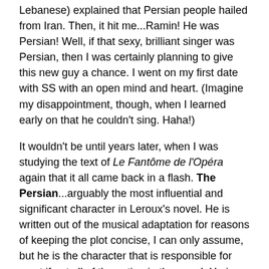Lebanese) explained that Persian people hailed from Iran. Then, it hit me...Ramin! He was Persian! Well, if that sexy, brilliant singer was Persian, then I was certainly planning to give this new guy a chance. I went on my first date with SS with an open mind and heart. (Imagine my disappointment, though, when I learned early on that he couldn't sing. Haha!)
It wouldn't be until years later, when I was studying the text of Le Fantôme de l'Opéra again that it all came back in a flash. The Persian...arguably the most influential and significant character in Leroux's novel. He is written out of the musical adaptation for reasons of keeping the plot concise, I can only assume, but he is the character that is responsible for most if not all of the action in the novel. He is the one who guides Raoul down to the Phantom's lair to save Christine. He is an intimate friend of Erik, the Phantom. And, he is only ever referred to as The Persian.